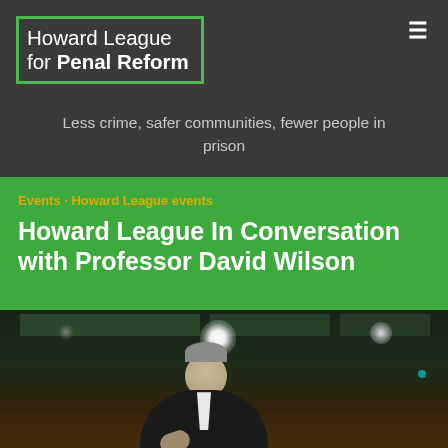Howard League for Penal Reform
Less crime, safer communities, fewer people in prison
Events · Howard League events
Howard League In Conversation with Professor David Wilson
[Figure (photo): Photograph of a man speaking at a podium or event in a conference room with ceiling lights visible]